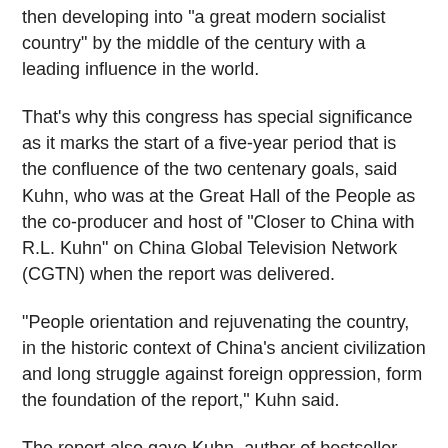then developing into "a great modern socialist country" by the middle of the century with a leading influence in the world.
That's why this congress has special significance as it marks the start of a five-year period that is the confluence of the two centenary goals, said Kuhn, who was at the Great Hall of the People as the co-producer and host of "Closer to China with R.L. Kuhn" on China Global Television Network (CGTN) when the report was delivered.
"People orientation and rejuvenating the country, in the historic context of China's ancient civilization and long struggle against foreign oppression, form the foundation of the report," Kuhn said.
The report also gave Kuhn, author of bestseller "How